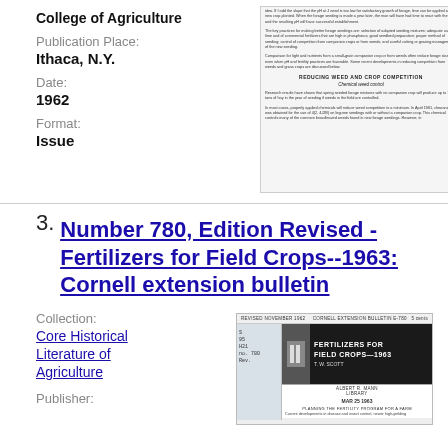College of Agriculture
Publication Place:
Ithaca, N.Y.
Date:
1962
Format:
Issue
[Figure (screenshot): Scanned document page showing text about reducing weed and crop competition, chemical weed control, with dense small-font paragraphs and section headings.]
3. Number 780, Edition Revised - Fertilizers for Field Crops--1963: Cornell extension bulletin
Collection:
Core Historical Literature of Agriculture
Publisher:
[Figure (screenshot): Cover of Cornell Extension Bulletin on Fertilizers for Field Crops 1963 by T.W. Scott, showing title, author, Albert R. Mann Library stamp dated MAR 25 1963, and beginning of text about planning the fertility program for a farm.]